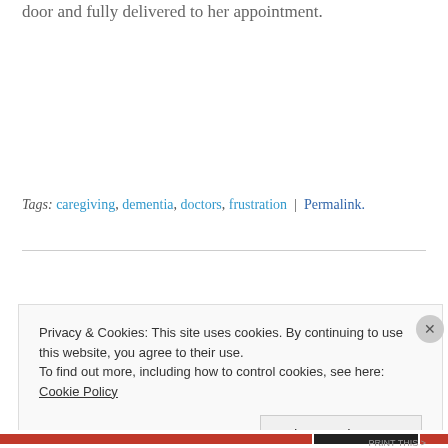door and fully delivered to her appointment.
Tags: caregiving, dementia, doctors, frustration | Permalink.
Privacy & Cookies: This site uses cookies. By continuing to use this website, you agree to their use.
To find out more, including how to control cookies, see here: Cookie Policy
Close and accept